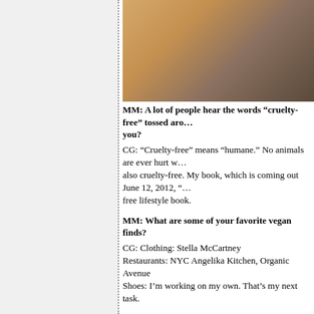[Figure (photo): Partial photo of a textured wicker/woven surface on a dark brown background, cropped at top of page]
MM: A lot of people hear the words “cruelty-free” tossed around. What does that mean to you?
CG: “Cruelty-free” means “humane.” No animals are ever hurt when I’m wearing it. My food is also cruelty-free. My book, which is coming out June 12, 2012, “” is the first comprehensive cruelty-free lifestyle book.
MM: What are some of your favorite vegan finds?
CG: Clothing: Stella McCartney
Restaurants: NYC Angelika Kitchen, Organic Avenue
Shoes: I’m working on my own. That’s my next task.
MM: Who are some of your favorite designers?
CG: Badgley Mischka, St. John, J.Crew, Levi’s, American Apparel
MM: How would you describe your personal style?
CG: My style is humane and classic with a twist.
MM: Name three of your eco-conscious staples?
CG: Fine & Raw Chocolate, Juice Press, CleanWell sanitizing wipes, and Sunwarrior Protein Supplement powder for smoothies.